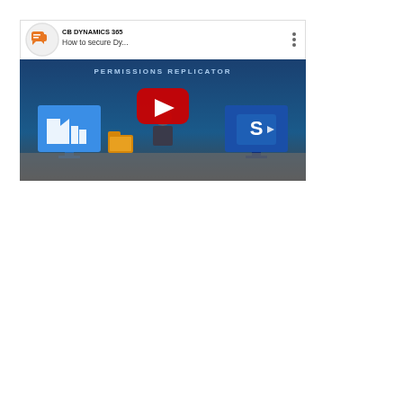[Figure (screenshot): YouTube video thumbnail/embed showing a video titled 'How to secure Dy...' from the channel CB Dynamics 365, with subtitle 'PERMISSIONS REPLICATOR'. The thumbnail shows a presenter standing between two monitor screens (one showing a factory/building icon on blue background, another showing SharePoint logo), with a red YouTube play button overlay. The video interface shows the channel logo (orange speech bubbles icon), video title, and a three-dot menu.]